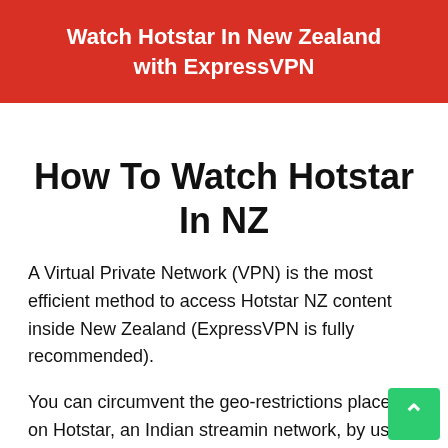Watch Hotstar In New Zealand with ExpressVPN
How To Watch Hotstar In NZ
A Virtual Private Network (VPN) is the most efficient method to access Hotstar NZ content inside New Zealand (ExpressVPN is fully recommended).
You can circumvent the geo-restrictions placed on Hotstar, an Indian streaming network, by using VPNs.